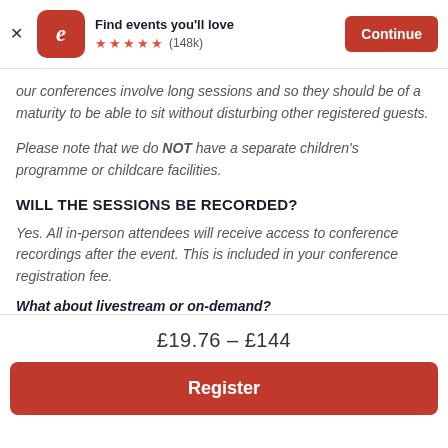[Figure (screenshot): Eventbrite app banner with logo, 'Find events you'll love', 5 stars rating (148k), and Continue button]
our conferences involve long sessions and so they should be of a maturity to be able to sit without disturbing other registered guests.
Please note that we do NOT have a separate children's programme or childcare facilities.
WILL THE SESSIONS BE RECORDED?
Yes. All in-person attendees will receive access to conference recordings after the event. This is included in your conference registration fee.
What about livestream or on-demand?
£19.76 – £144
Register